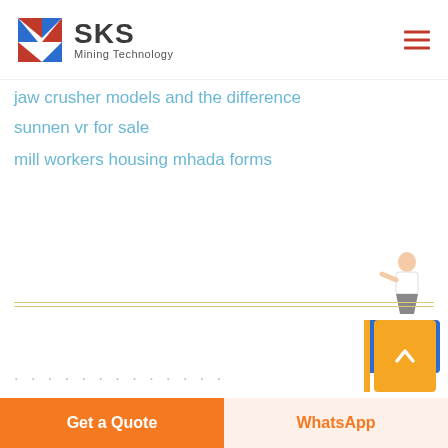[Figure (logo): SKS Mining Technology logo with red and blue angular S graphic and text]
jaw crusher models and the difference
sunnen vr for sale
mill workers housing mhada forms
[Figure (illustration): Free chat widget with woman figure and blue Free chat button]
[Figure (other): Yellow scroll-to-top button with upward chevron]
Get a Quote
WhatsApp